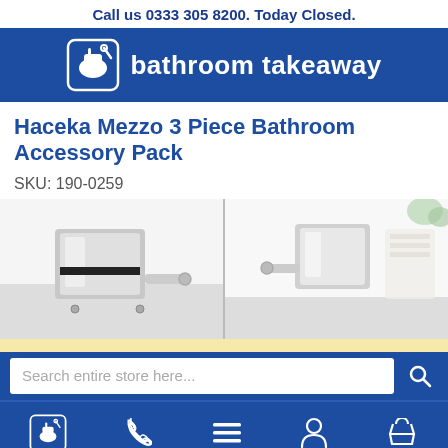Call us 0333 305 8200. Today Closed.
[Figure (logo): Bathroom Takeaway logo — white icon of a toilet on blue background with text 'bathroom takeaway' in white]
Haceka Mezzo 3 Piece Bathroom Accessory Pack
SKU: 190-0259
[Figure (photo): Two product photos of chrome bathroom accessories side by side — left shows a square chrome hook/robe hook from a close angle, right shows a similar chrome accessory from another angle with white towels in background]
Search entire store here...
[Figure (infographic): Bottom navigation bar with 5 icons: home/logo, phone, menu (hamburger), account (person), basket]